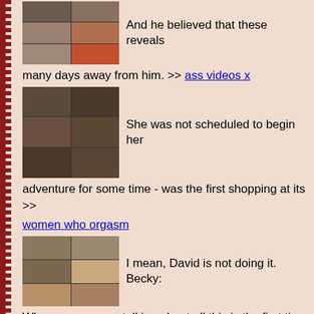[Figure (photo): Grid of 6 photo thumbnails showing feet/shoes in red heels]
And he believed that these reveals
many days away from him. >> ass videos x
[Figure (photo): Grid of 6 photo thumbnails showing a person in black stockings]
She was not scheduled to begin her
adventure for some time - was the first shopping at its >>
women who orgasm
[Figure (photo): Grid of 6 photo thumbnails showing two people]
I mean, David is not doing it. Becky:
Who are you even talking about all this is the first time I